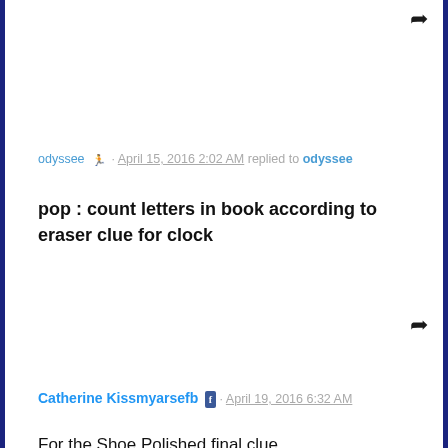odyssee · April 15, 2016 2:02 AM replied to odyssee
pop : count letters in book according to eraser clue for clock
Catherine Kissmyarsefb · April 19, 2016 6:32 AM
For the Shoe Polished final clue
Show Spoiler
Mildly annoying, but there you go.